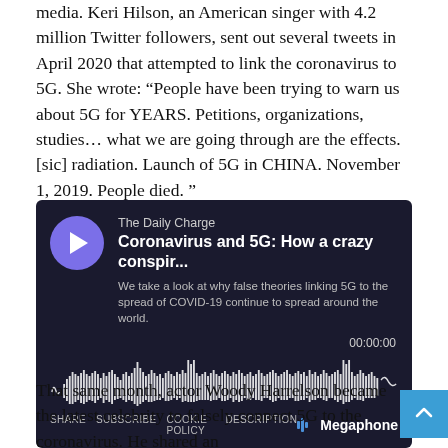media. Keri Hilson, an American singer with 4.2 million Twitter followers, sent out several tweets in April 2020 that attempted to link the coronavirus to 5G. She wrote: “People have been trying to warn us about 5G for YEARS. Petitions, organizations, studies… what we are going through are the effects. [sic] radiation. Launch of 5G in CHINA. November 1, 2019. People died. ”
[Figure (screenshot): Podcast player embed from Megaphone. Show: The Daily Charge. Title: Coronavirus and 5G: How a crazy conspir... Description: We take a look at why false theories linking 5G to the spread of COVID-19 continue to spread around the world. Time: 00:00:00. Waveform displayed. Links: SHARE, SUBSCRIBE, COOKIE POLICY, DESCRIPTION. Megaphone logo.]
That same month, actor Woody Harrelson became the latest celebrity to falsely connect 5G to the coronavirus. He shared an